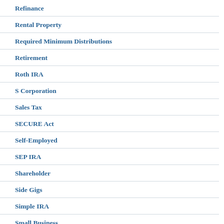Refinance
Rental Property
Required Minimum Distributions
Retirement
Roth IRA
S Corporation
Sales Tax
SECURE Act
Self-Employed
SEP IRA
Shareholder
Side Gigs
Simple IRA
Small Business
Social Media
Social Security
Standard Mileage Rate
Standard Operating Procedures
State Taxes
Stimulus